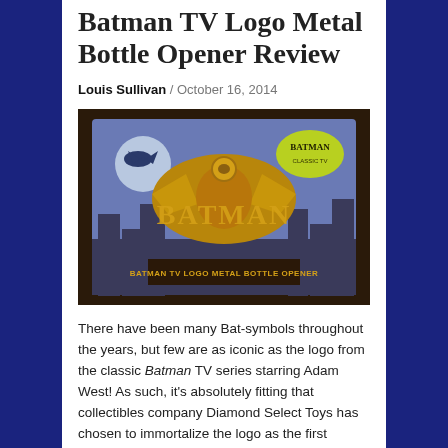Batman TV Logo Metal Bottle Opener Review
Louis Sullivan / October 16, 2014
[Figure (photo): Photo of the Batman TV Logo Metal Bottle Opener product in its packaging. The box features the classic Batman logo in gold metal, the Batman TV series bat symbol, and text reading BATMAN TV LOGO METAL BOTTLE OPENER on a blue background with a city skyline.]
There have been many Bat-symbols throughout the years, but few are as iconic as the logo from the classic Batman TV series starring Adam West! As such, it's absolutely fitting that collectibles company Diamond Select Toys has chosen to immortalize the logo as the first design in a series of metal bottle